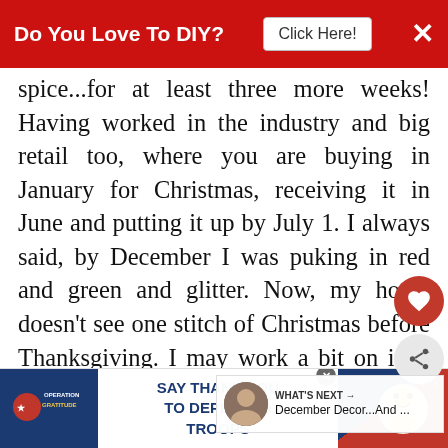Do You Love To DIY? Click Here!
spice...for at least three more weeks! Having worked in the industry and big retail too, where you are buying in January for Christmas, receiving it in June and putting it up by July 1. I always said, by December I was puking in red and green and glitter. Now, my home doesn't see one stitch of Christmas before Thanksgiving. I may work a bit on it in the basement but NO...there will be no Christmas on my blog! HUGS, love you and actual homey and personal Seasonal decor! Sandi
[Figure (screenshot): Operation Gratitude advertisement: SAY THANK YOU TO DEPLOYED TROOPS]
WHAT'S NEXT → December Decor...And ...